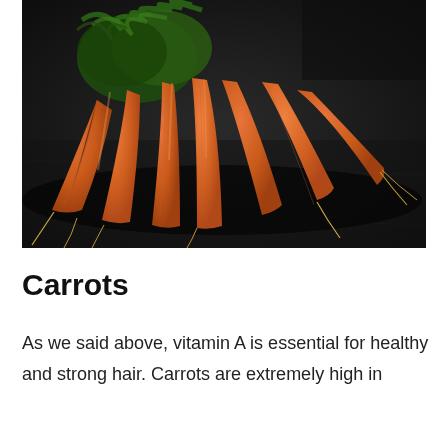[Figure (photo): A bunch of fresh orange carrots with green tops arranged on a dark wooden surface, photographed from above at a slight angle.]
Carrots
As we said above, vitamin A is essential for healthy and strong hair. Carrots are extremely high in